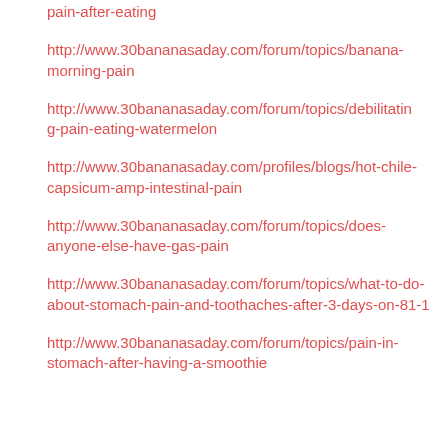pain-after-eating
http://www.30bananasaday.com/forum/topics/banana-morning-pain
http://www.30bananasaday.com/forum/topics/debilitating-pain-eating-watermelon
http://www.30bananasaday.com/profiles/blogs/hot-chile-capsicum-amp-intestinal-pain
http://www.30bananasaday.com/forum/topics/does-anyone-else-have-gas-pain
http://www.30bananasaday.com/forum/topics/what-to-do-about-stomach-pain-and-toothaches-after-3-days-on-81-1
http://www.30bananasaday.com/forum/topics/pain-in-stomach-after-having-a-smoothie